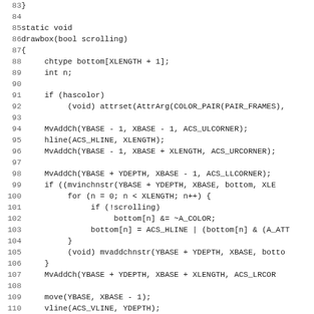[Figure (other): Source code listing in C, showing the drawbox function with line numbers 83-115, including chtype declaration, int n, hascolor check with attrset, MvAddCh calls, hline, vline, mvinchnstr, for loop, mvaddchnstr, and move calls.]